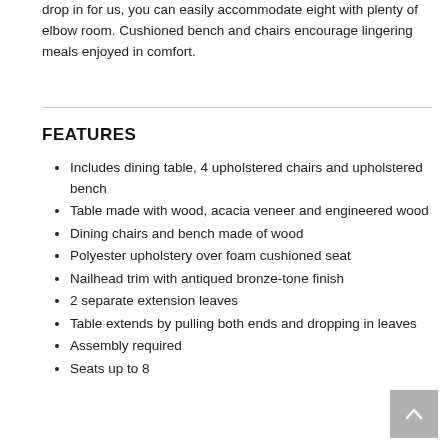drop in for us, you can easily accommodate eight with plenty of elbow room. Cushioned bench and chairs encourage lingering meals enjoyed in comfort.
FEATURES
Includes dining table, 4 upholstered chairs and upholstered bench
Table made with wood, acacia veneer and engineered wood
Dining chairs and bench made of wood
Polyester upholstery over foam cushioned seat
Nailhead trim with antiqued bronze-tone finish
2 separate extension leaves
Table extends by pulling both ends and dropping in leaves
Assembly required
Seats up to 8